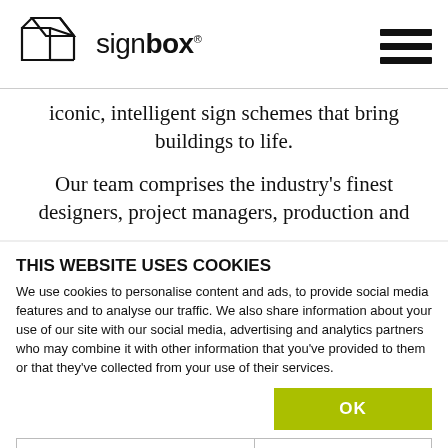[Figure (logo): Signbox logo with geometric diamond/box icon and text 'signbox' with registered trademark symbol]
iconic, intelligent sign schemes that bring buildings to life.
Our team comprises the industry's finest designers, project managers, production and
THIS WEBSITE USES COOKIES
We use cookies to personalise content and ads, to provide social media features and to analyse our traffic. We also share information about your use of our site with our social media, advertising and analytics partners who may combine it with other information that you've provided to them or that they've collected from your use of their services.
OK
Necessary  Preferences  Statistics  Marketing  Show details